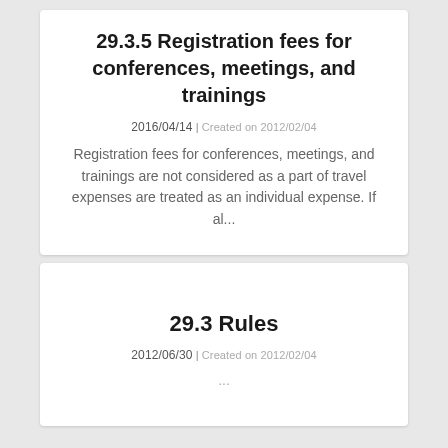29.3.5 Registration fees for conferences, meetings, and trainings
2016/04/14 | Created on 2012/02/04
Registration fees for conferences, meetings, and trainings are not considered as a part of travel expenses are treated as an individual expense. If al...
29.3 Rules
2012/06/30 | Created on 2012/02/04
...